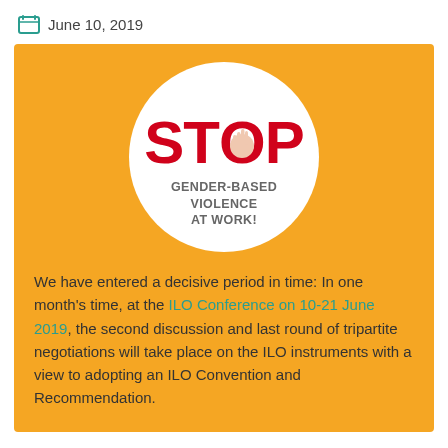June 10, 2019
[Figure (logo): Round white logo with red STOP text and hand print in the O, text arcing at top reading SUPPORT AN ILO CONVENTION, below reads GENDER-BASED VIOLENCE AT WORK! on a yellow/amber background]
We have entered a decisive period in time: In one month’s time, at the ILO Conference on 10-21 June 2019, the second discussion and last round of tripartite negotiations will take place on the ILO instruments with a view to adopting an ILO Convention and Recommendation.